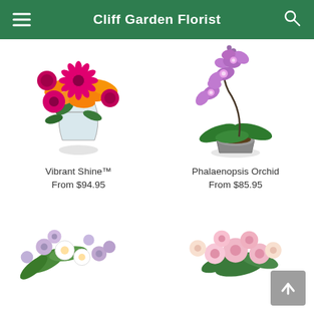Cliff Garden Florist
[Figure (photo): Orange lily and magenta gerbera daisy bouquet in a glass vase]
Vibrant Shine™
From $94.95
[Figure (photo): Purple phalaenopsis orchid in a silver metallic pot]
Phalaenopsis Orchid
From $85.95
[Figure (photo): Partial view of a light purple and white mixed flower arrangement]
[Figure (photo): Partial view of a pink and cream flower arrangement]